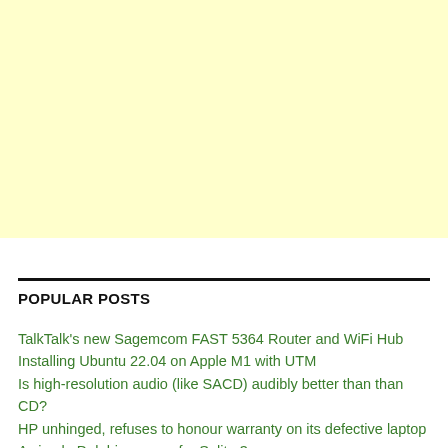[Figure (other): Light yellow advertisement banner placeholder]
POPULAR POSTS
TalkTalk's new Sagemcom FAST 5364 Router and WiFi Hub
Installing Ubuntu 22.04 on Apple M1 with UTM
Is high-resolution audio (like SACD) audibly better than than CD?
HP unhinged, refuses to honour warranty on its defective laptop
A simple Delphi wrapper for Sqlite 3